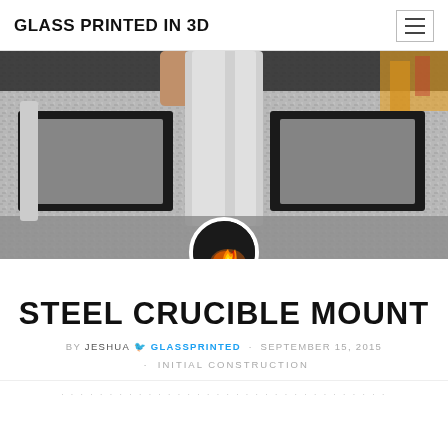GLASS PRINTED IN 3D
[Figure (photo): Photo of a steel mold/crucible mount on a granite surface with fire visible in a circular inset avatar thumbnail]
STEEL CRUCIBLE MOUNT
BY JESHUA 🐦 GLASSPRINTED · SEPTEMBER 15, 2015 · INITIAL CONSTRUCTION
...